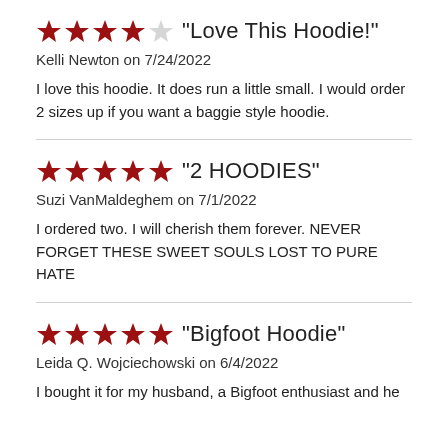"Love This Hoodie!"
Kelli Newton on 7/24/2022
I love this hoodie. It does run a little small. I would order 2 sizes up if you want a baggie style hoodie.
"2 HOODIES"
Suzi VanMaldeghem on 7/1/2022
I ordered two. I will cherish them forever. NEVER FORGET THESE SWEET SOULS LOST TO PURE HATE
"Bigfoot Hoodie"
Leida Q. Wojciechowski on 6/4/2022
I bought it for my husband, a Bigfoot enthusiast and he